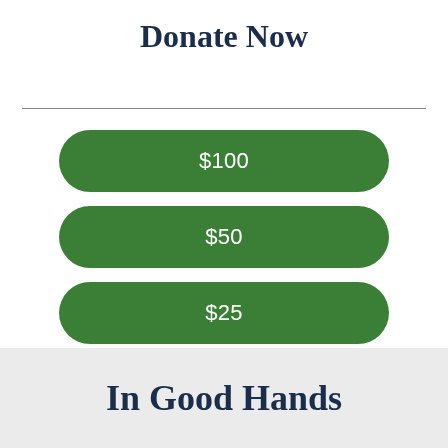Donate Now
$100
$50
$25
$Other
In Good Hands